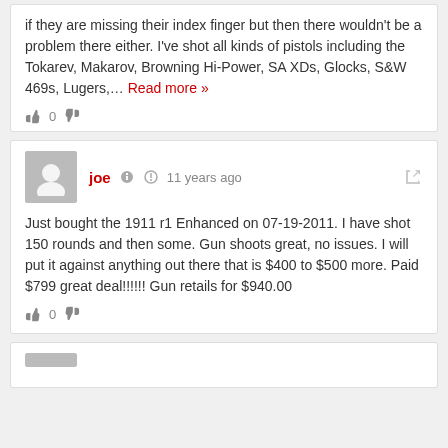if they are missing their index finger but then there wouldn't be a problem there either. I've shot all kinds of pistols including the Tokarev, Makarov, Browning Hi-Power, SA XDs, Glocks, S&W 469s, Lugers,… Read more »
joe · 11 years ago
Just bought the 1911 r1 Enhanced on 07-19-2011. I have shot 150 rounds and then some. Gun shoots great, no issues. I will put it against anything out there that is $400 to $500 more. Paid $799 great deal!!!!!! Gun retails for $940.00